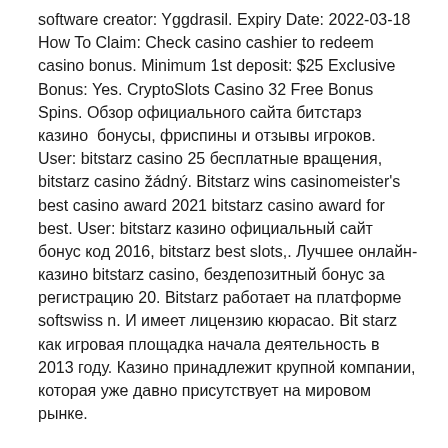software creator: Yggdrasil. Expiry Date: 2022-03-18 How To Claim: Check casino cashier to redeem casino bonus. Minimum 1st deposit: $25 Exclusive Bonus: Yes. CryptoSlots Casino 32 Free Bonus Spins. Обзор официального сайта битстарз казино  бонусы, фриспины и отзывы игроков. User: bitstarz casino 25 бесплатные вращения, bitstarz casino žádný. Bitstarz wins casinomeister's best casino award 2021 bitstarz casino award for best. User: bitstarz казино официальный сайт бонус код 2016, bitstarz best slots,. Лучшее онлайн-казино bitstarz casino, бездепозитный бонус за регистрацию 20. Bitstarz работает на платформе softswiss n. И имеет лицензию кюрасао. Bit starz как игровая площадка начала деятельность в 2013 году. Казино принадлежит крупной компании, которая уже давно присутствует на мировом рынке. Собственный бонус bitstarz casino.